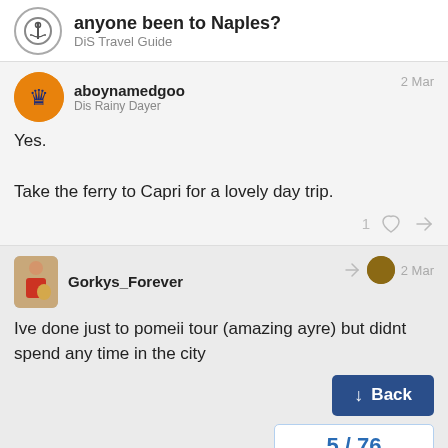anyone been to Naples? | DiS Travel Guide
aboynamedgoo
Dis Rainy Dayer
2 Mar
Yes.
Take the ferry to Capri for a lovely day trip.
Gorkys_Forever
2 Mar
Ive done just to pomeii tour (amazing ayre) but didnt spend any time in the city
Back
5 / 76